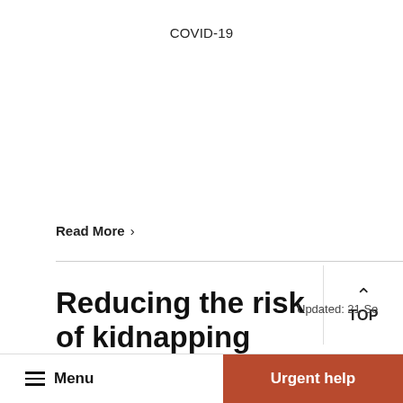COVID-19
Read More  >
Reducing the risk of kidnapping
Updated: 21 Se
There is an ongoing threat of kidnapping in many
Menu    Urgent help